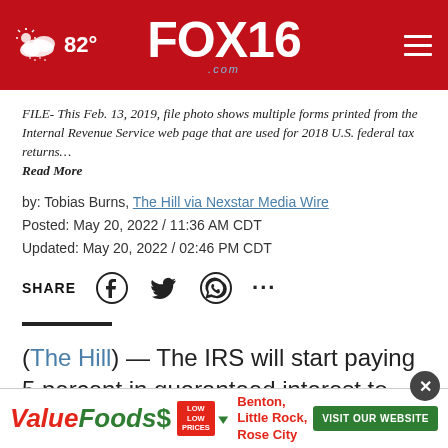[Figure (screenshot): FOX16 website header bar with red background, weather icon showing 82°, FOX16.com logo in center, hamburger menu on right]
FILE- This Feb. 13, 2019, file photo shows multiple forms printed from the Internal Revenue Service web page that are used for 2018 U.S. federal tax returns… Read More
by: Tobias Burns, The Hill via Nexstar Media Wire
Posted: May 20, 2022 / 11:36 AM CDT
Updated: May 20, 2022 / 02:46 PM CDT
SHARE
(The Hill) — The IRS will start paying 5 percent in guaranteed interest to individuals with delayed tax returns beginning in July, up a percentage point from the la…